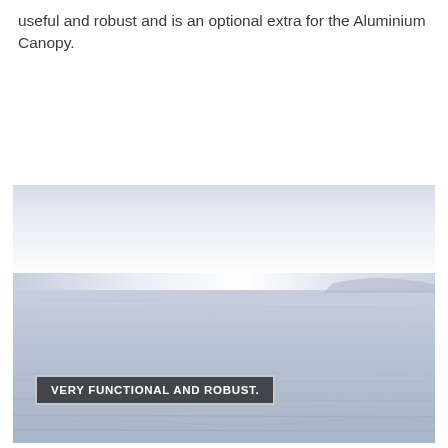useful and robust and is an optional extra for the Aluminium Canopy.
[Figure (photo): Wide panoramic photo of a calm body of water under an overcast sky. The water appears slightly icy or frozen with gentle wave patterns. Mountains or land are faintly visible in the far right background. A dark overlay box with white text reads 'VERY FUNCTIONAL AND ROBUST.' in the lower-left area of the image.]